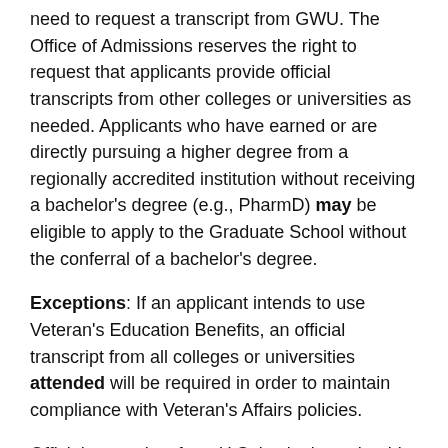need to request a transcript from GWU. The Office of Admissions reserves the right to request that applicants provide official transcripts from other colleges or universities as needed. Applicants who have earned or are directly pursuing a higher degree from a regionally accredited institution without receiving a bachelor's degree (e.g., PharmD) may be eligible to apply to the Graduate School without the conferral of a bachelor's degree.
Exceptions: If an applicant intends to use Veteran's Education Benefits, an official transcript from all colleges or universities attended will be required in order to maintain compliance with Veteran's Affairs policies.
Official transcripts from U.S. institutions should be sent via mail directly from the educational institution in an unopened, sealed envelope or through an electronically secure digital program from the issuing institution.